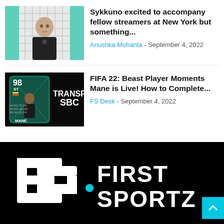[Figure (photo): Thumbnail of Sykkuno streamer sitting in front of a camera with a grid background]
Sykkuno excited to accompany fellow streamers at New York but something...
Anushka Mohanta - September 4, 2022
[Figure (photo): FIFA 22 Transfer SBC card showing Mane with rating 98 ST on a teal background]
FIFA 22: Beast Player Moments Mane is Live! How to Complete...
FS Desk - September 4, 2022
[Figure (logo): First Sportz logo in white on black background with cyan accent triangle]